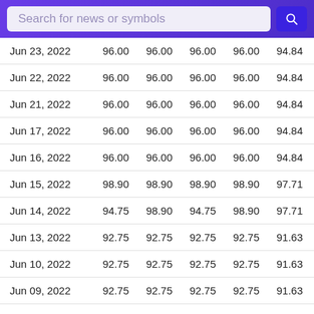| Date | Open | High | Low | Close | Adj Close | Volume |
| --- | --- | --- | --- | --- | --- | --- |
| Jun 23, 2022 | 96.00 | 96.00 | 96.00 | 96.00 | 94.84 |  |
| Jun 22, 2022 | 96.00 | 96.00 | 96.00 | 96.00 | 94.84 |  |
| Jun 21, 2022 | 96.00 | 96.00 | 96.00 | 96.00 | 94.84 |  |
| Jun 17, 2022 | 96.00 | 96.00 | 96.00 | 96.00 | 94.84 |  |
| Jun 16, 2022 | 96.00 | 96.00 | 96.00 | 96.00 | 94.84 | 275 |
| Jun 15, 2022 | 98.90 | 98.90 | 98.90 | 98.90 | 97.71 |  |
| Jun 14, 2022 | 94.75 | 98.90 | 94.75 | 98.90 | 97.71 | 692 |
| Jun 13, 2022 | 92.75 | 92.75 | 92.75 | 92.75 | 91.63 |  |
| Jun 10, 2022 | 92.75 | 92.75 | 92.75 | 92.75 | 91.63 |  |
| Jun 09, 2022 | 92.75 | 92.75 | 92.75 | 92.75 | 91.63 |  |
| Jun 08, 2022 | 92.75 | 92.75 | 92.75 | 92.75 | 91.63 |  |